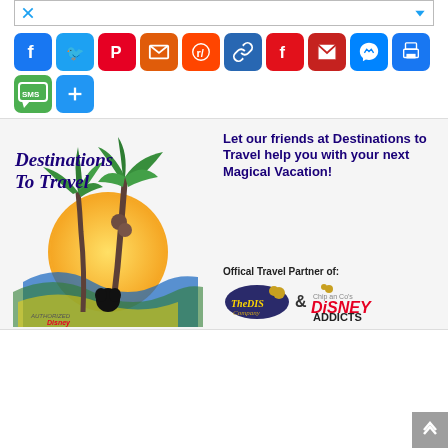[Figure (screenshot): Top ad bar with X (Twitter) icon and dropdown arrow]
[Figure (infographic): Row of social media sharing icons: Facebook, Twitter, Pinterest, Email, Reddit, Link, Flipboard, Gmail, Messenger, Print, SMS, More (+)]
[Figure (infographic): Destinations to Travel banner ad. Left side shows the Destinations to Travel logo with palm trees and an Authorized Disney Vacation Planner badge. Right side shows text: 'Let our friends at Destinations to Travel help you with your next Magical Vacation!' and 'Offical Travel Partner of:' with logos for The DIS (company) and Chip and Co Disney Addicts.]